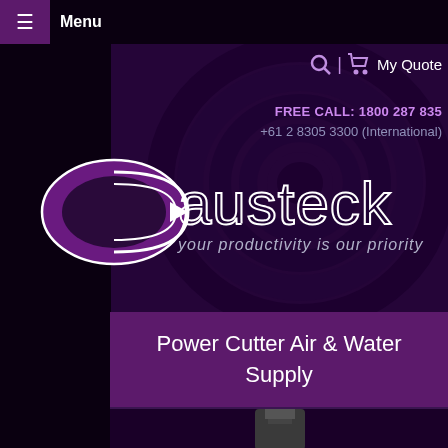☰ Menu
[Figure (logo): Austeck logo with tagline 'your productivity is our priority' on a dark purple background with cable/hose imagery]
FREE CALL: 1800 287 835
+61 2 8305 3300 (International)
Power Cutter Air & Water Supply
[Figure (photo): Bottom partial view of a product, appears to be a fitting or connector, partially visible at bottom of page]